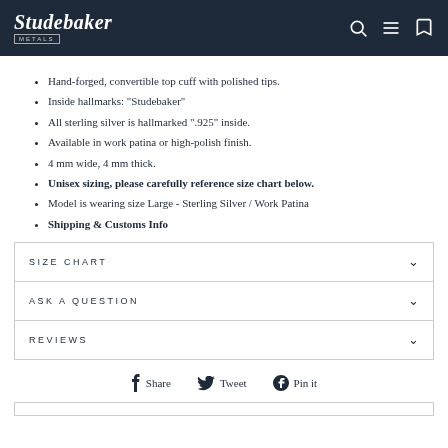Studebaker Metals
Hand-forged, convertible top cuff with polished tips.
Inside hallmarks: "Studebaker"
All sterling silver is hallmarked ".925" inside.
Available in work patina or high-polish finish.
4 mm wide, 4 mm thick.
Unisex sizing, please carefully reference size chart below.
Model is wearing size Large - Sterling Silver / Work Patina
Shipping & Customs Info
SIZE CHART
ASK A QUESTION
REVIEWS
Share  Tweet  Pin it